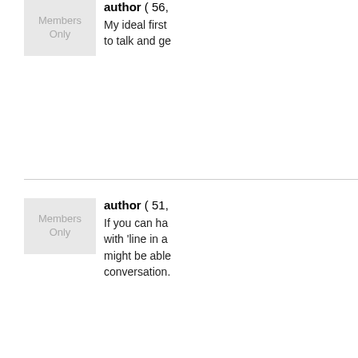author ( 56, ... ) My ideal first ... to talk and ge...
author ( 51, ... ) If you can ha... with 'line in a... might be able... conversation.
author ( 25, ... ) Would love g... about random... dive bar, or if... the v...  see more